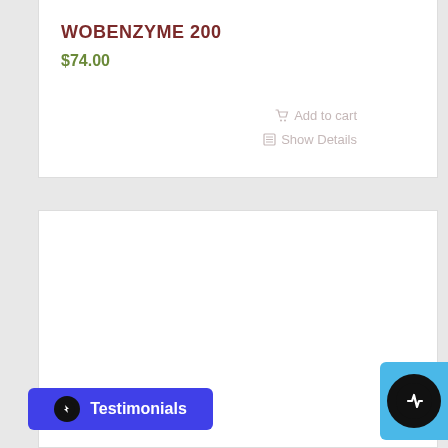WOBENZYME 200
$74.00
Add to cart
Show Details
[Figure (screenshot): Empty white card / product area below the main product listing]
Testimonials
[Figure (logo): Round black icon with lightning bolt/health symbol on blue background widget button]